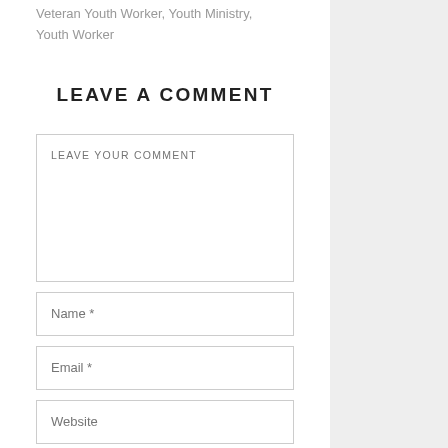Veteran Youth Worker, Youth Ministry, Youth Worker
LEAVE A COMMENT
LEAVE YOUR COMMENT
Name *
Email *
Website